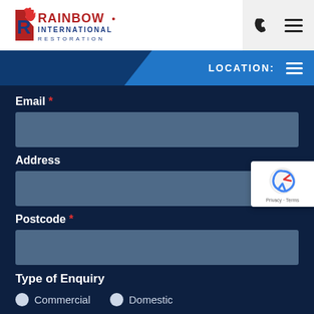[Figure (logo): Rainbow International Restoration logo with stylized R and flame graphic, red and blue text]
LOCATION:
Email *
Address
Postcode *
Type of Enquiry
Commercial
Domestic